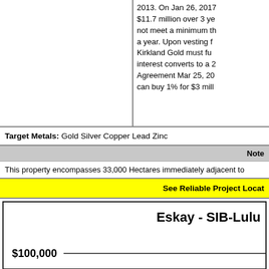2013. On Jan 26, 2017 $11.7 million over 3 years not meet a minimum th a year. Upon vesting f Kirkland Gold must fu interest converts to a 2 Agreement Mar 25, 20 can buy 1% for $3 mill
Target Metals: Gold Silver Copper Lead Zinc
Note
This property encompasses 33,000 Hectares immediately adjacent to
See Reliable Project Locat
[Figure (other): Chart section showing 'Eskay - SIB-Lulu' title with $100,000 value label and a horizontal line]